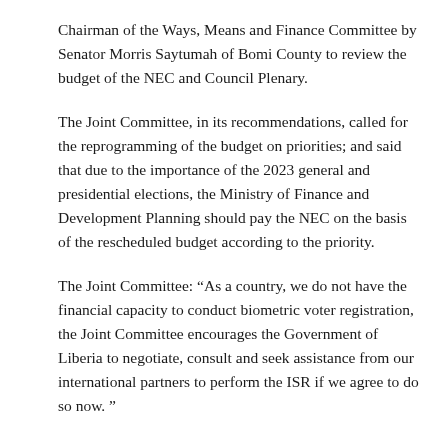Chairman of the Ways, Means and Finance Committee by Senator Morris Saytumah of Bomi County to review the budget of the NEC and Council Plenary.
The Joint Committee, in its recommendations, called for the reprogramming of the budget on priorities; and said that due to the importance of the 2023 general and presidential elections, the Ministry of Finance and Development Planning should pay the NEC on the basis of the rescheduled budget according to the priority.
The Joint Committee: “As a country, we do not have the financial capacity to conduct biometric voter registration, the Joint Committee encourages the Government of Liberia to negotiate, consult and seek assistance from our international partners to perform the ISR if we agree to do so now. ”